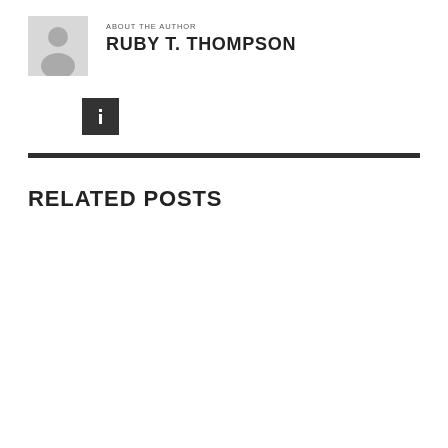[Figure (illustration): Generic author avatar: silhouette of a person on a light gray square background]
ABOUT THE AUTHOR
RUBY T. THOMPSON
[Figure (other): Small dark square button with a white letter 'i' icon, representing a social or info link]
RELATED POSTS